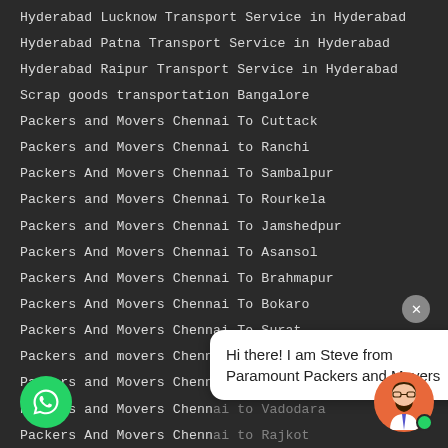Hyderabad Lucknow Transport Service in Hyderabad
Hyderabad Patna Transport Service in Hyderabad
Hyderabad Raipur Transport Service in Hyderabad
Scrap goods transportation Bangalore
Packers and Movers Chennai To Cuttack
Packers and Movers Chennai to Ranchi
Packers And Movers Chennai To Sambalpur
Packers and Movers Chennai To Rourkela
Packers and Movers Chennai To Jamshedpur
Packers And Movers Chennai To Asansol
Packers And Movers Chennai To Brahmapur
Packers And Movers Chennai To Bokaro
Packers And Movers Chennai To Surat
Packers and movers Chenn...
Packers and Movers Chenn...
Packers and Movers Chenn...
Packers And Movers Chenn...
Packers and Movers Chennai to Gandhidham
and Movers Chennai to Ahmedabad
And Movers Chennai To Daman and Diu
Packers And Movers Chennai To Port Blair
Packers And Movers Bangalore to Port Blair
Hi there! I am Steve from Paramount Packers and Movers